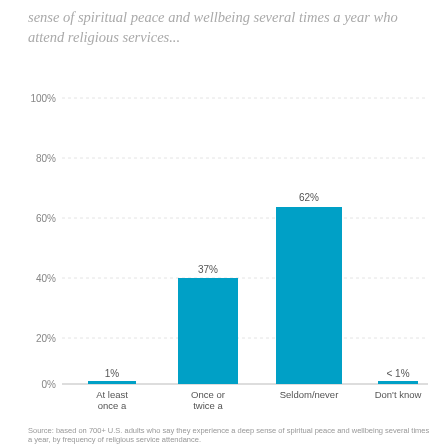sense of spiritual peace and wellbeing several times a year who attend religious services...
[Figure (bar-chart): ]
Source: based on 700+ U.S. adults who say they experience a deep sense of...